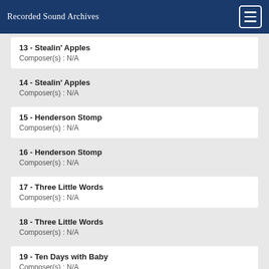Recorded Sound Archives
13 - Stealin' Apples
Composer(s) : N/A
14 - Stealin' Apples
Composer(s) : N/A
15 - Henderson Stomp
Composer(s) : N/A
16 - Henderson Stomp
Composer(s) : N/A
17 - Three Little Words
Composer(s) : N/A
18 - Three Little Words
Composer(s) : N/A
19 - Ten Days with Baby
Composer(s) : N/A